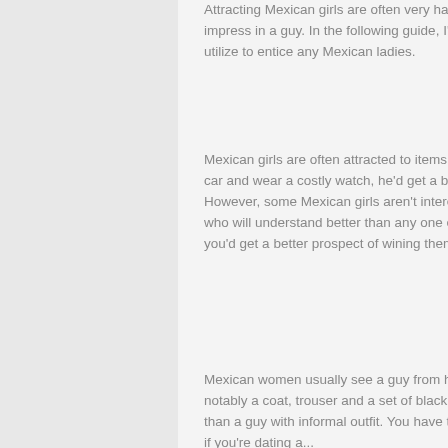Attracting Mexican girls are often very hard if you don't understand what create them impress in a guy. In the following guide, I'll show you a few suggestions which you may utilize to entice any Mexican ladies.
Mexican girls are often attracted to items of top value from a guy. If a guy drive a vintage car and wear a costly watch, he'd get a better prospect of getting the attention from a girl. However, some Mexican girls aren't interested in matters of high price, they need a guy who will understand better than any one else, even if you're able to dig in their heads you'd get a better prospect of wining them your very first impression isn't so great.
Mexican women usually see a guy from head to feet. A guy with great dressing fashion, notably a coat, trouser and a set of black metal toe functioning shoes may impress a girl than a guy with informal outfit. You have to groom yourself to impress your date, so even if you're dating a...